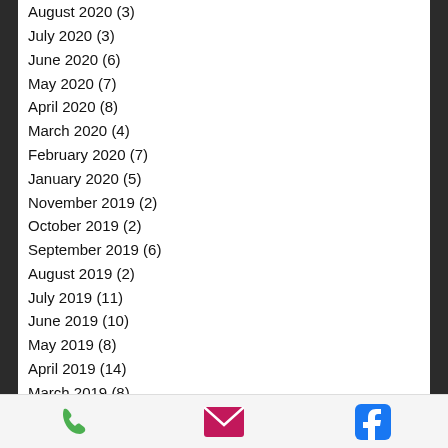August 2020 (3)
July 2020 (3)
June 2020 (6)
May 2020 (7)
April 2020 (8)
March 2020 (4)
February 2020 (7)
January 2020 (5)
November 2019 (2)
October 2019 (2)
September 2019 (6)
August 2019 (2)
July 2019 (11)
June 2019 (10)
May 2019 (8)
April 2019 (14)
March 2019 (8)
February 2019 (11)
January 2019 (11)
December 2018 (5)
November 2018 (9)
October 2018 (13)
September 2018 (9)
[Figure (infographic): Mobile footer bar with three icons: green phone icon, pink/magenta email envelope icon, blue Facebook icon]